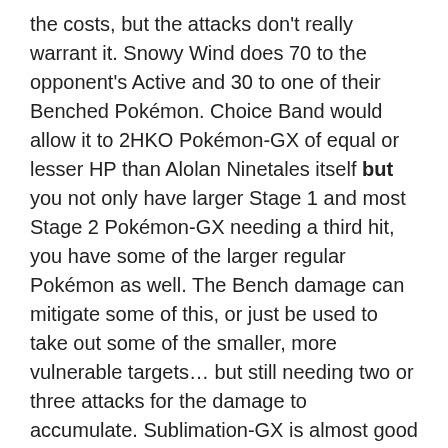the costs, but the attacks don't really warrant it. Snowy Wind does 70 to the opponent's Active and 30 to one of their Benched Pokémon. Choice Band would allow it to 2HKO Pokémon-GX of equal or lesser HP than Alolan Ninetales itself but you not only have larger Stage 1 and most Stage 2 Pokémon-GX needing a third hit, you have some of the larger regular Pokémon as well. The Bench damage can mitigate some of this, or just be used to take out some of the smaller, more vulnerable targets… but still needing two or three attacks for the damage to accumulate. Sublimation-GX is almost good enough to warrant the Energy cost, at least right now; an automatic KO of your opponent's Active Ultra Beast. It is a great option to have, but obviously not something to build one's deck around.
Putting everything about this Alolan Ninetales-GX together, we have a solid looking package for [Y] decks, but is the